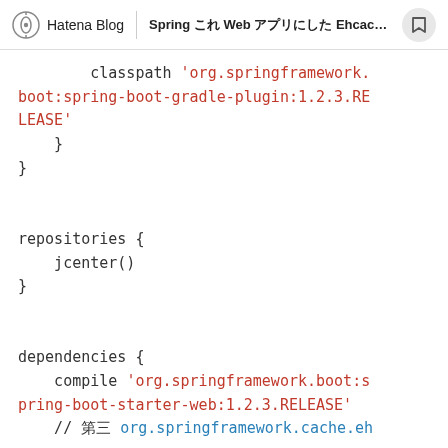Hatena Blog | Spring Web Ehcache ...
classpath 'org.springframework.boot:spring-boot-gradle-plugin:1.2.3.RELEASE'
    }
}

repositories {
    jcenter()
}

dependencies {
    compile 'org.springframework.boot:spring-boot-starter-web:1.2.3.RELEASE'
    // □□□ org.springframework.cache.eh